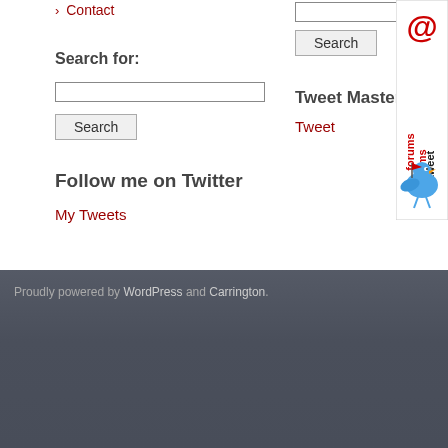› Contact
Search for:
Tweet Master
Tweet
Follow me on Twitter
My Tweets
[Figure (logo): retweet@forums badge with blue Twitter bird holding a flag]
Proudly powered by WordPress and Carrington.